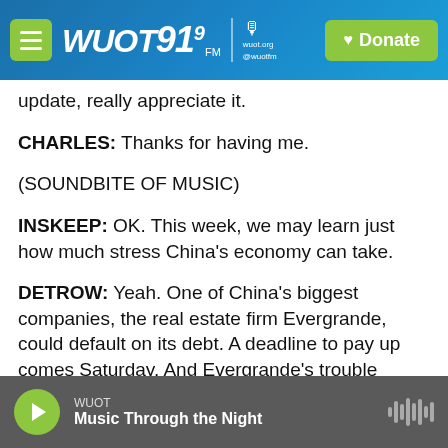WUOT 91.9 FM | wuot.org @wuotfm | Donate
update, really appreciate it.
CHARLES: Thanks for having me.
(SOUNDBITE OF MUSIC)
INSKEEP: OK. This week, we may learn just how much stress China's economy can take.
DETROW: Yeah. One of China's biggest companies, the real estate firm Evergrande, could default on its debt. A deadline to pay up comes Saturday. And Evergrande's trouble comes amid news about just how much China's economy has recently slowed.
WUOT | Music Through the Night